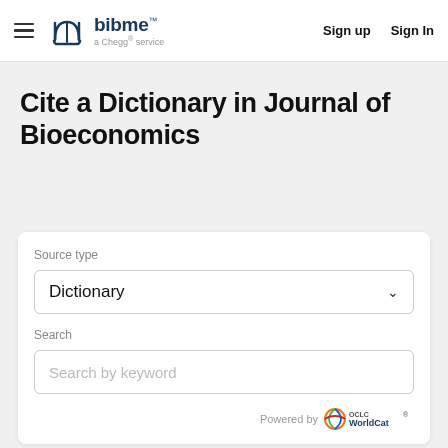BibMe a Chegg® service | Sign up | Sign In
Cite a Dictionary in Journal of Bioeconomics
Source type
Dictionary
Search
Search by keyword
Powered by OCLC WorldCat